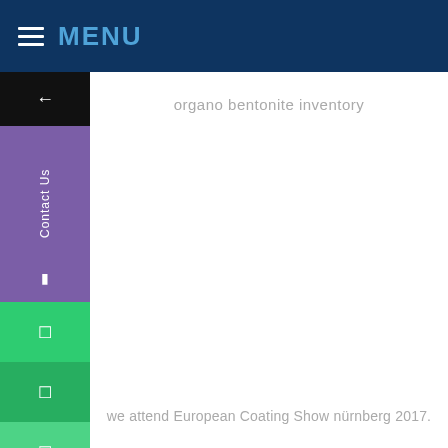MENU
organo bentonite inventory
we attend European Coating Show nürnberg 2017.